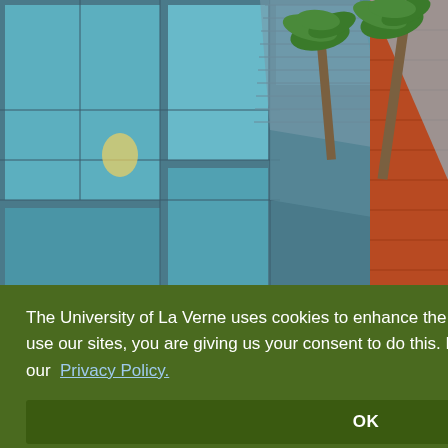[Figure (photo): Upward-angle architectural photo of a modern university building with large glass facade panels and metal framing, an orange/red brick column, and palm trees against a blue sky in the background.]
all students, in indoor ndation that ue indoor
The University of La Verne uses cookies to enhance the user experience. By continuing to use our sites, you are giving us your consent to do this. For more information, please review our  Privacy Policy.
OK